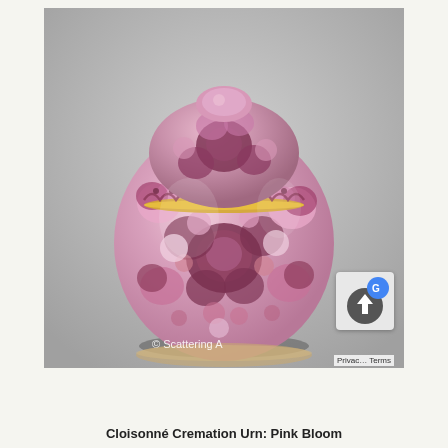[Figure (photo): A Cloisonné cremation urn called 'Pink Bloom'. It is a round, lidded ginger-jar style urn decorated with dense floral patterns — roses and blossoms — in shades of pink, mauve, and deep rose/burgundy on a pale pink background. The urn has a rounded body with a domed lid. A thin gold band separates the lid from the body. The background of the photo is a neutral gray. A watermark '© Scattering A' is visible at the bottom right of the photo.]
Cloisonné Cremation Urn: Pink Bloom